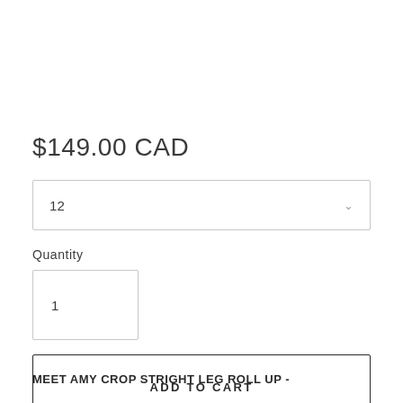$149.00 CAD
12
Quantity
1
ADD TO CART
MEET AMY CROP STRIGHT LEG ROLL UP -